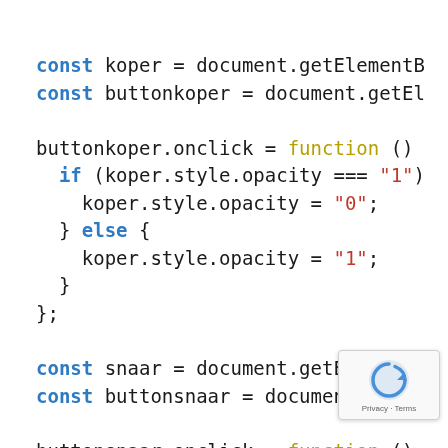const koper = document.getElementB
const buttonkoper = document.getEl

buttonkoper.onclick = function ()
  if (koper.style.opacity === "1");
    koper.style.opacity = "0";
  } else {
    koper.style.opacity = "1";
  }
};

const snaar = document.getElementB
const buttonsnaar = document.ge

buttonsnaar.onclick = function ()